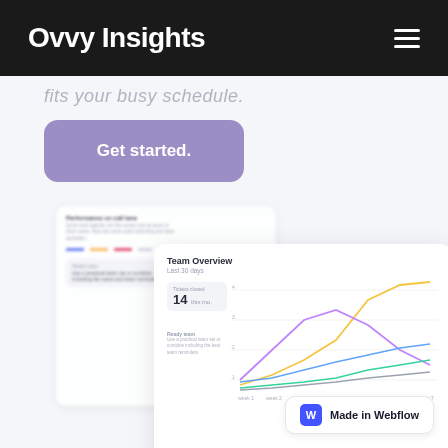Ovvy Insights
fits your busy schedule.
Get started.
[Figure (screenshot): Dashboard screenshot showing Team Overview card with a multi-line chart displaying data over time, with a legend of colored series indicators at the bottom. A smaller analytics card is partially visible behind it on the left.]
Made in Webflow